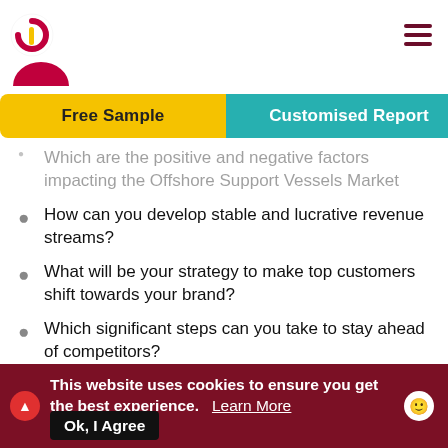Navigation header with logo and hamburger menu
Which are the positive and negative factors impacting the Offshore Support Vessels Market
How can you develop stable and lucrative revenue streams?
What will be your strategy to make top customers shift towards your brand?
Which significant steps can you take to stay ahead of competitors?
Get a complete personalized report with a scorecard of target partners
This website uses cookies to ensure you get the best experience. Learn More | Ok, I Agree